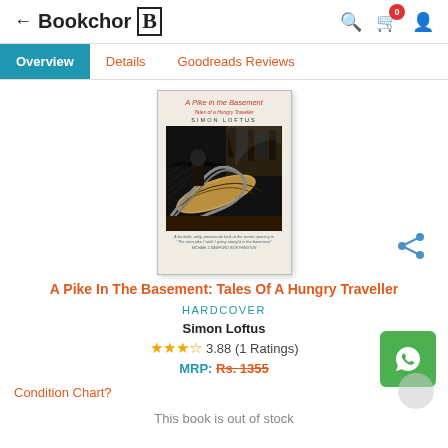← Bookchor B
Overview | Details | Goodreads Reviews
[Figure (photo): Book cover of 'A Pike in the Basement: Tales of a Hungry Traveller' by Simon Loftus, featuring a black and white woodcut illustration]
A Pike In The Basement: Tales Of A Hungry Traveller
HARDCOVER
Simon Loftus
3.88 (1 Ratings)
MRP: Rs. 1355
Condition Chart?
This book is out of stock